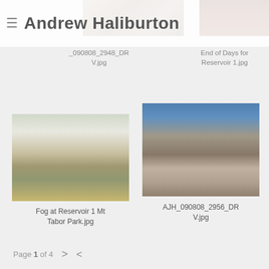Andrew Haliburton
[Figure (photo): Partially visible photo of rocky terrain, top-left]
[Figure (photo): Partially visible photo of a reservoir/canyon, top-right]
_090808_2948_DRV.jpg
End of Days for Reservoir 1.jpg
[Figure (photo): Fog at Reservoir 1 Mt Tabor Park — foggy scene with circular reservoir surrounded by trees and grass]
[Figure (photo): AJH_090808_2956_DRV.jpg — person sitting on rocks with dramatic cliff face behind]
Fog at Reservoir 1 Mt Tabor Park.jpg
AJH_090808_2956_DRV.jpg
Page 1 of 4